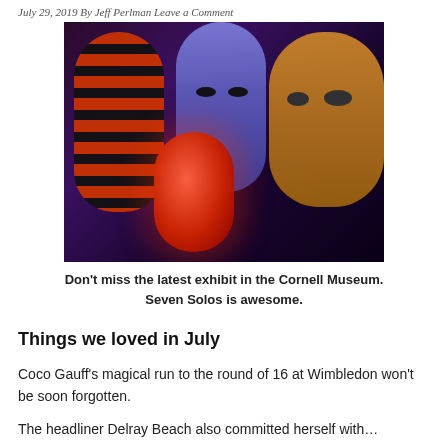July 29, 2019 By Jeff Perlman Leave a Comment
[Figure (photo): Four large sculptural head figures illuminated in dramatic colored lighting — a striped orange/black tall head on the left, a blue/purple tall head in the center-back, a large tan/brown head on the right, and a glowing red smaller face in the front-center. Dark purple background.]
Don't miss the latest exhibit in the Cornell Museum. Seven Solos is awesome.
Things we loved in July
Coco Gauff's magical run to the round of 16 at Wimbledon won't be soon forgotten.
The headliner Delray Beach also committed herself with…